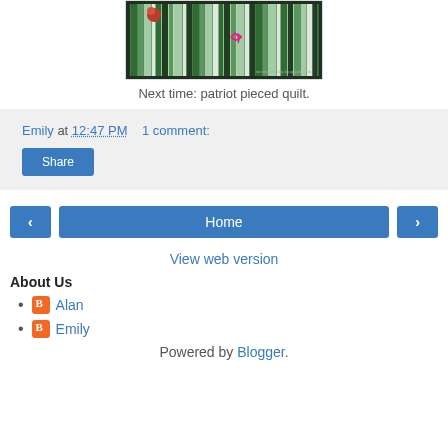[Figure (photo): A green striped quilt with small decorative elements, watermarked with stemmonsday.blogspot.com]
Next time: patriot pieced quilt.
Emily at 12:47 PM   1 comment:
Share
‹   Home   ›
View web version
About Us
Alan
Emily
Powered by Blogger.